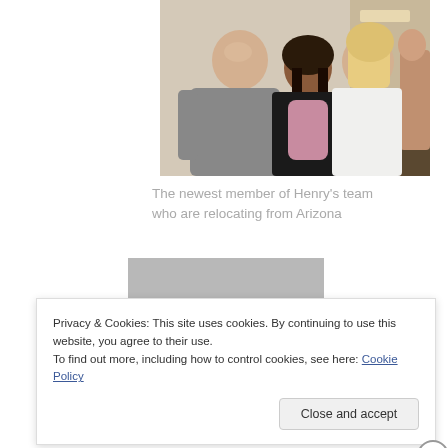[Figure (photo): Three people posing together indoors at what appears to be a party or gathering. A bald man in a grey shirt on the left, a woman with dark hair wearing a black top with a pink scarf in the middle, and a blonde woman in a white top on the right. Background shows a kitchen/living area.]
The newest member of Henry’s team who are relocating from Arizona
[Figure (photo): Partially visible photo below the caption, mostly grey/dark tones, partially obscured by cookie banner.]
Privacy & Cookies: This site uses cookies. By continuing to use this website, you agree to their use.
To find out more, including how to control cookies, see here: Cookie Policy
Close and accept
Advertisements